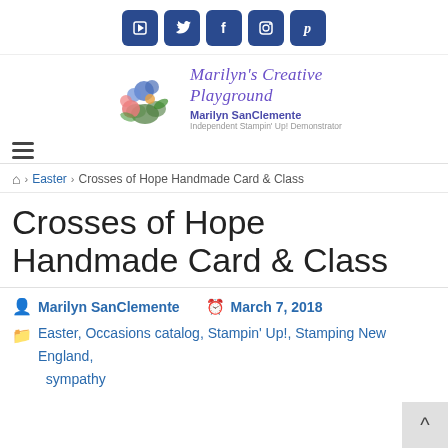Social icons: YouTube, Twitter, Facebook, Instagram, Pinterest
[Figure (logo): Marilyn's Creative Playground logo with floral illustration, script text 'Marilyn's Creative Playground', name 'Marilyn SanClemente', subtitle 'Independent Stampin' Up! Demonstrator']
Hamburger/navigation menu icon
Home > Easter > Crosses of Hope Handmade Card & Class
Crosses of Hope Handmade Card & Class
Marilyn SanClemente   March 7, 2018
Easter, Occasions catalog, Stampin' Up!, Stamping New England, sympathy